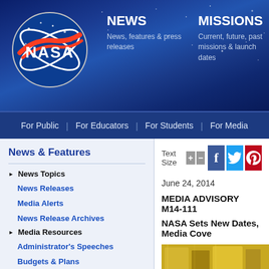[Figure (screenshot): NASA website header with logo, NEWS and MISSIONS navigation items on dark blue starfield background]
NEWS | News, features & press releases | MISSIONS | Current, future, past missions & launch dates
For Public | For Educators | For Students | For Media
News & Features
News Topics
News Releases
Media Alerts
News Release Archives
Media Resources
Administrator's Speeches
Budgets & Plans
Reports
Text Size
June 24, 2014
MEDIA ADVISORY M14-111
NASA Sets New Dates, Media Cove
[Figure (photo): Close-up photo of gold-colored spacecraft or satellite hardware components]